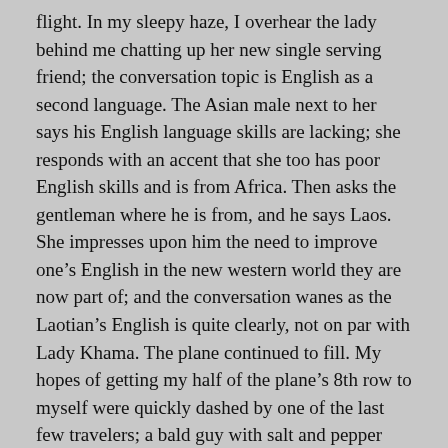flight. In my sleepy haze, I overhear the lady behind me chatting up her new single serving friend; the conversation topic is English as a second language. The Asian male next to her says his English language skills are lacking; she responds with an accent that she too has poor English skills and is from Africa. Then asks the gentleman where he is from, and he says Laos. She impresses upon him the need to improve one’s English in the new western world they are now part of; and the conversation wanes as the Laotian’s English is quite clearly, not on par with Lady Khama. The plane continued to fill. My hopes of getting my half of the plane’s 8th row to myself were quickly dashed by one of the last few travelers; a bald guy with salt and pepper beard and completely glued to his phone’s messaging service. He was probably traveling for Valentine’s day weekend and smooches are given in a video message. Slightly nauseated, I just wished I had the ability to shut off hearing as I could my sight.